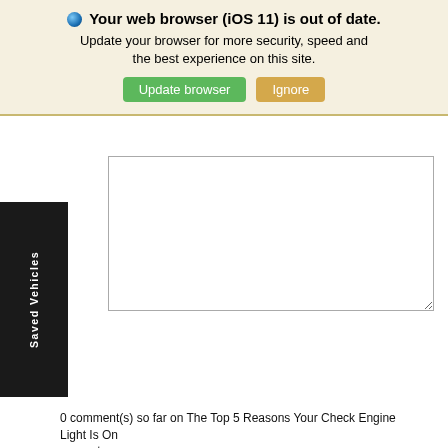Your web browser (iOS 11) is out of date. Update your browser for more security, speed and the best experience on this site.
Update browser
Ignore
[Figure (screenshot): Web form with comment textarea, name field, email field, website field, and Post Comment button. A 'Saved Vehicles' black sidebar tab appears on the left.]
0 comment(s) so far on The Top 5 Reasons Your Check Engine Light Is On